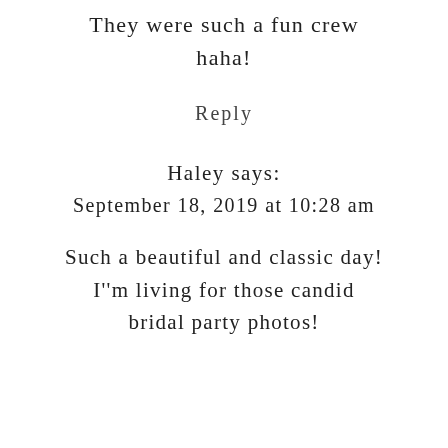They were such a fun crew haha!
Reply
Haley says:
September 18, 2019 at 10:28 am
Such a beautiful and classic day! I''m living for those candid bridal party photos!